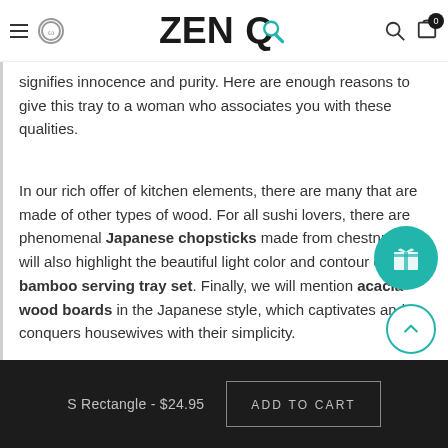ZENQ — Navigation bar with hamburger menu, logo, search and cart (0 items)
signifies innocence and purity. Here are enough reasons to give this tray to a woman who associates you with these qualities.
In our rich offer of kitchen elements, there are many that are made of other types of wood. For all sushi lovers, there are phenomenal Japanese chopsticks made from chestnut, but will also highlight the beautiful light color and contours of the bamboo serving tray set. Finally, we will mention acacia wood boards in the Japanese style, which captivates and conquers housewives with their simplicity.
S Rectangle - $24.95   ADD TO CART